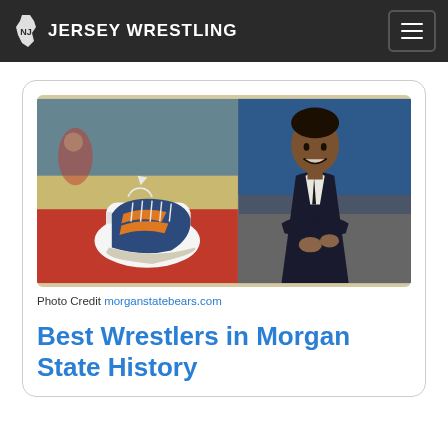JERSEY WRESTLING
[Figure (photo): Composite image: left side shows blue and orange wrestling shoes on a red mat with gym background; right side shows a smiling man in a black suit with arms crossed.]
Photo Credit morganstatebears.com
Best Wrestlers in Morgan State History